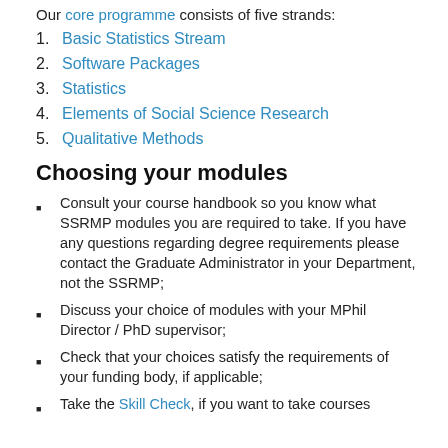Our core programme consists of five strands:
1. Basic Statistics Stream
2. Software Packages
3. Statistics
4. Elements of Social Science Research
5. Qualitative Methods
Choosing your modules
Consult your course handbook so you know what SSRMP modules you are required to take. If you have any questions regarding degree requirements please contact the Graduate Administrator in your Department, not the SSRMP;
Discuss your choice of modules with your MPhil Director / PhD supervisor;
Check that your choices satisfy the requirements of your funding body, if applicable;
Take the Skill Check, if you want to take courses